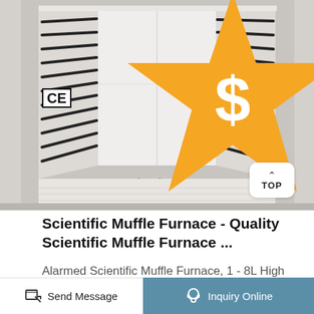[Figure (photo): Interior of a scientific muffle furnace showing ceramic heating chamber with black heating element strips on the walls and floor, white refractory interior, with CE certification badge and gold supplier badge overlaid at bottom left, and a TOP navigation button at bottom right.]
Scientific Muffle Furnace - Quality Scientific Muffle Furnace ...
Alarmed Scientific Muffle Furnace, 1 - 8L High Temperature...